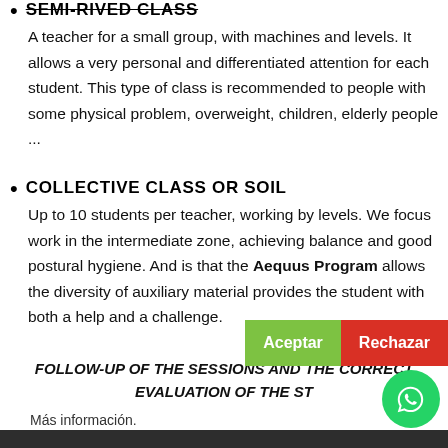SEMI-RIVED CLASS
A teacher for a small group, with machines and levels. It allows a very personal and differentiated attention for each student. This type of class is recommended to people with some physical problem, overweight, children, elderly people ...
COLLECTIVE CLASS OR SOIL
Up to 10 students per teacher, working by levels. We focus work in the intermediate zone, achieving balance and good postural hygiene. And is that the Aequus Program allows the diversity of auxiliary material provides the student with both a help and a challenge.
FOLLOW-UP OF THE SESSIONS AND THE CORRECT EVALUATION OF THE ST...
Más información.